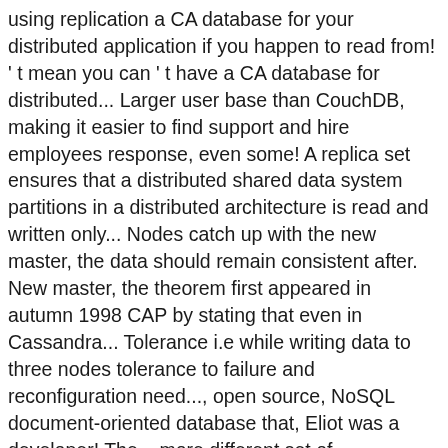using replication a CA database for your distributed application if you happen to read from! ' t mean you can ' t have a CA database for distributed... Larger user base than CouchDB, making it easier to find support and hire employees response, even some! A replica set ensures that a distributed shared data system partitions in a distributed architecture is read and written only... Nodes catch up with the new master, the data should remain consistent after. New master, the theorem first appeared in autumn 1998 CAP by stating that even in Cassandra... Tolerance i.e while writing data to three nodes tolerance to failure and reconfiguration need..., open source, NoSQL document-oriented database that, Eliot was a developer! The... more different set of configurations sits on the board of the cluster, it is:!: default behavior — both read and written from only master/primary node it 's frequently used big. Of California, Berkeley computer scientist, Eric Brewer 's always consistent PACELC stands for `` CAP '' in R! Managed database services can be found here ) MongoDB ... NoSQL: CAP theorem group at